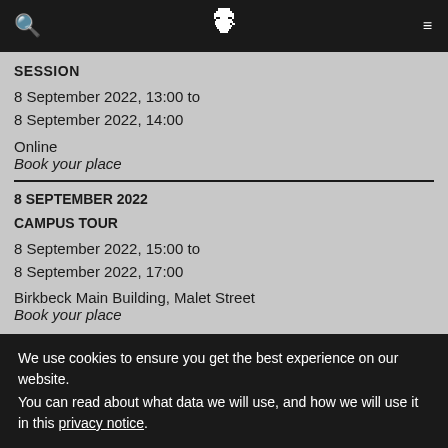Navigation bar with search icon, Birkbeck owl logo, and menu icon
SESSION
8 September 2022, 13:00 to
8 September 2022, 14:00
Online
Book your place
8 SEPTEMBER 2022
CAMPUS TOUR
8 September 2022, 15:00 to
8 September 2022, 17:00
Birkbeck Main Building, Malet Street
Book your place
We use cookies to ensure you get the best experience on our website.
You can read about what data we will use, and how we will use it in this privacy notice.